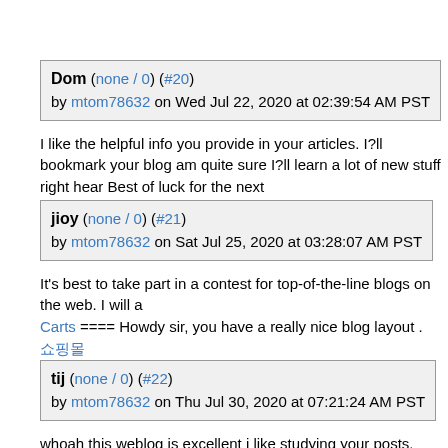Dom (none / 0) (#20) by mtom78632 on Wed Jul 22, 2020 at 02:39:54 AM PST
I like the helpful info you provide in your articles. I?ll bookmark your blog a... am quite sure I?ll learn a lot of new stuff right hear Best of luck for the next...
jioy (none / 0) (#21) by mtom78632 on Sat Jul 25, 2020 at 03:28:07 AM PST
It's best to take part in a contest for top-of-the-line blogs on the web. I will a... Carts ==== Howdy sir, you have a really nice blog layout . 쇼핑몰
tij (none / 0) (#22) by mtom78632 on Thu Jul 30, 2020 at 07:21:24 AM PST
whoah this weblog is excellent i like studying your posts. Keep up the grea... people are looking round for this info, you could help them greatly. hormone... reference some of the content found in this entry if I provide a link back to y...